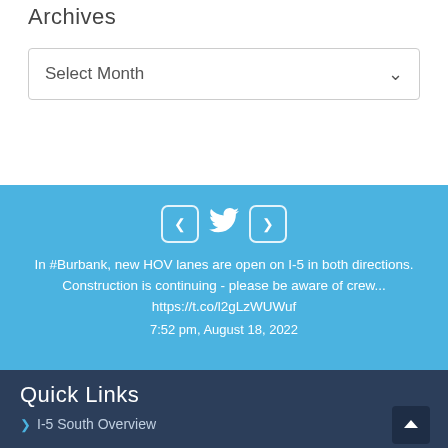Archives
Select Month
[Figure (screenshot): Twitter widget with navigation arrows and bird icon showing a tweet about Burbank HOV lanes on I-5]
In #Burbank, new HOV lanes are open on I-5 in both directions. Construction is continuing - please be aware of crew... https://t.co/l2gLzWUWuf
7:52 pm, August 18, 2022
Quick Links
I-5 South Overview